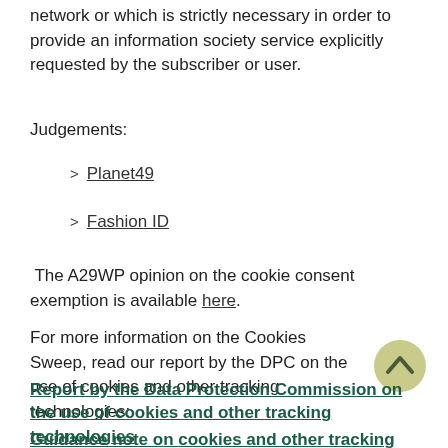network or which is strictly necessary in order to provide an information society service explicitly requested by the subscriber or user.
Judgements:
Planet49
Fashion ID
The A29WP opinion on the cookie consent exemption is available here.
For more information on the Cookies Sweep, read our report by the DPC on the use of cookies and other tracking technologies:
Report by the Data Protection Commission on the use of cookies and other tracking technologies
Guidance note on cookies and other tracking technologies